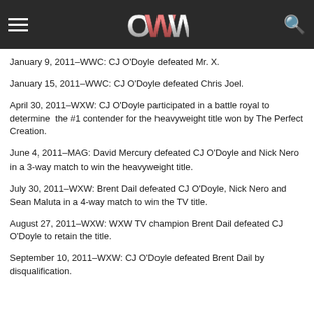OWW
January 9, 2011–WWC: CJ O'Doyle defeated Mr. X.
January 15, 2011–WWC: CJ O'Doyle defeated Chris Joel.
April 30, 2011–WXW: CJ O'Doyle participated in a battle royal to determine the #1 contender for the heavyweight title won by The Perfect Creation.
June 4, 2011–MAG: David Mercury defeated CJ O'Doyle and Nick Nero in a 3-way match to win the heavyweight title.
July 30, 2011–WXW: Brent Dail defeated CJ O'Doyle, Nick Nero and Sean Maluta in a 4-way match to win the TV title.
August 27, 2011–WXW: WXW TV champion Brent Dail defeated CJ O'Doyle to retain the title.
September 10, 2011–WXW: CJ O'Doyle defeated Brent Dail by disqualification.